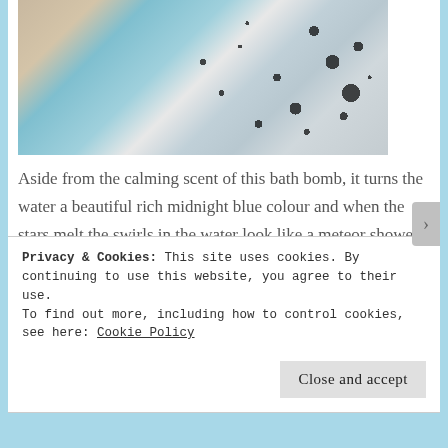[Figure (photo): A hand holding a bath bomb dissolving in water with blue swirls and dark bubbles creating a midnight blue effect]
Aside from the calming scent of this bath bomb, it turns the water a beautiful rich midnight blue colour and when the stars melt the swirls in the water look like a meteor shower.  Its makes for a perfect bath to indulge in on these cold Autumn evenings.
Privacy & Cookies: This site uses cookies. By continuing to use this website, you agree to their use.
To find out more, including how to control cookies, see here: Cookie Policy
Close and accept